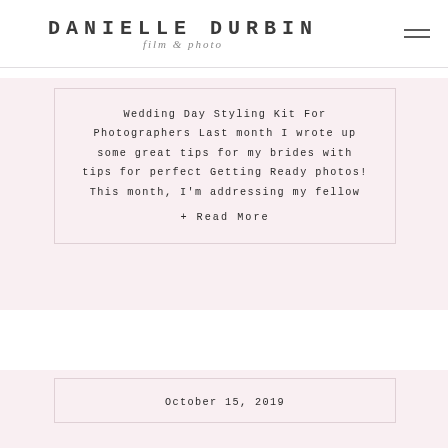DANIELLE DURBIN film & photo
Wedding Day Styling Kit For Photographers Last month I wrote up some great tips for my brides with tips for perfect Getting Ready photos! This month, I'm addressing my fellow
+ Read More
October 15, 2019